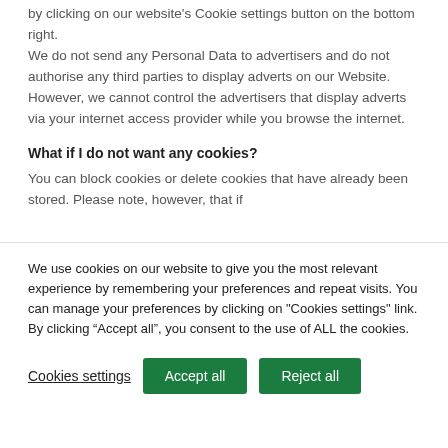by clicking on our website's Cookie settings button on the bottom right. We do not send any Personal Data to advertisers and do not authorise any third parties to display adverts on our Website. However, we cannot control the advertisers that display adverts via your internet access provider while you browse the internet.
What if I do not want any cookies?
You can block cookies or delete cookies that have already been stored. Please note, however, that if
We use cookies on our website to give you the most relevant experience by remembering your preferences and repeat visits. You can manage your preferences by clicking on "Cookies settings" link. By clicking “Accept all”, you consent to the use of ALL the cookies.